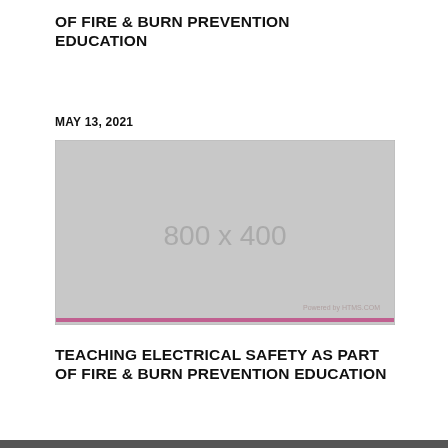OF FIRE & BURN PREVENTION EDUCATION
MAY 13, 2021
[Figure (photo): Placeholder image 800 x 400 with light gray background and thin pink/purple bottom border, watermark text 'Powered by HTMS.COM']
TEACHING ELECTRICAL SAFETY AS PART OF FIRE & BURN PREVENTION EDUCATION